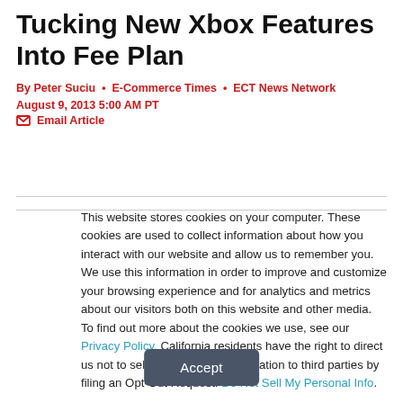Tucking New Xbox Features Into Fee Plan
By Peter Suciu • E-Commerce Times • ECT News Network
August 9, 2013 5:00 AM PT
✉ Email Article
This website stores cookies on your computer. These cookies are used to collect information about how you interact with our website and allow us to remember you. We use this information in order to improve and customize your browsing experience and for analytics and metrics about our visitors both on this website and other media. To find out more about the cookies we use, see our Privacy Policy. California residents have the right to direct us not to sell their personal information to third parties by filing an Opt-Out Request: Do Not Sell My Personal Info.